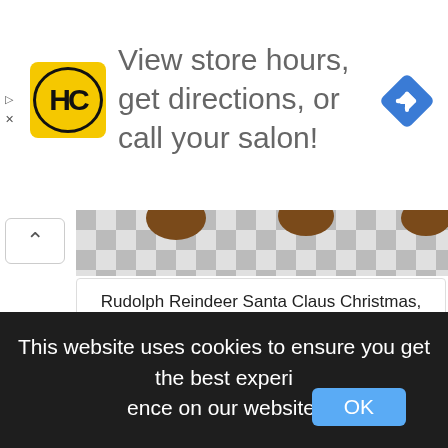[Figure (screenshot): Advertisement banner with HC logo (yellow circle with HC text), text 'View store hours, get directions, or call your salon!', and a blue navigation diamond icon. Small play and X icons on the left edge.]
[Figure (screenshot): Browser UI showing a checkerboard transparency background with partial image of a reindeer/Santa character at top, a white card below with title 'Rudolph Reindeer Santa Claus Christmas, vertebrate, Reindeer, mammal, food,Reindeer png' and dimensions '898x1600px', a chevron-up button on the left.]
Rudolph Reindeer Santa Claus Christmas, vertebrate, Reindeer, mammal, food,Reindeer png
898x1600px
[Figure (illustration): Santa Claus illustration showing the top of Santa's head with red hat and white fur trim, cheerful face with closed eyes, on a checkerboard transparency background.]
This website uses cookies to ensure you get the best experience on our website.
OK